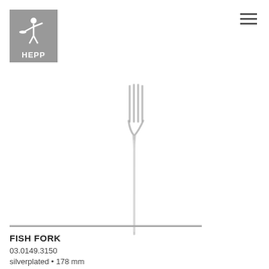[Figure (logo): HEPP brand logo: grey square background with white silhouette of a waiter holding a serving platter and the word HEPP below]
[Figure (photo): Product photo of a silver fish fork, silverplated, 178mm length, shown vertically centered on white background]
FISH FORK
03.0149.3150
silverplated • 178 mm